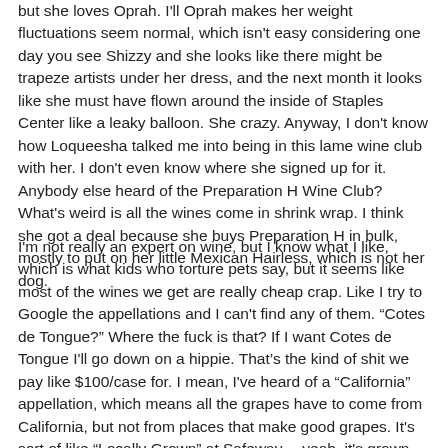but she loves Oprah. I'll Oprah makes her weight fluctuations seem normal, which isn't easy considering one day you see Shizzy and she looks like there might be trapeze artists under her dress, and the next month it looks like she must have flown around the inside of Staples Center like a leaky balloon. She crazy. Anyway, I don't know how Loqueesha talked me into being in this lame wine club with her. I don't even know where she signed up for it. Anybody else heard of the Preparation H Wine Club? What's weird is all the wines come in shrink wrap. I think she got a deal because she buys Preparation H in bulk, mostly to put on her little Mexican Hairless, which is not her dog.
I'm not really an expert on wine, but I know what I like, which is what kids who torture pets say, but it seems like most of the wines we get are really cheap crap. Like I try to Google the appellations and I can't find any of them. “Cotes de Tongue?” Where the fuck is that? If I want Cotes de Tongue I'll go down on a hippie. That’s the kind of shit we pay like $100/case for. I mean, I've heard of a “California” appellation, which means all the grapes have to come from California, but not from places that make good grapes. It's sort of like “Locally Grown” at Safeway… yeah, it's grown